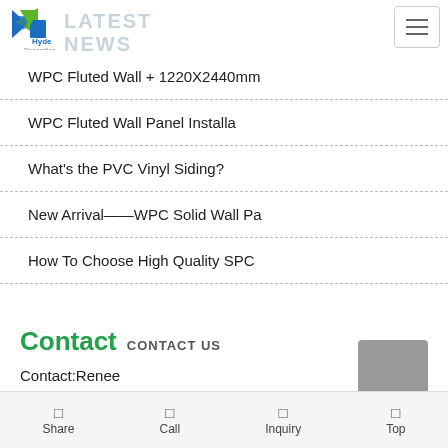LATEST NEWS
[Figure (logo): Hyde Decoration company logo with blue and green arrow/house icon]
WPC Fluted Wall + 1220X2440mm
WPC Fluted Wall Panel Installa
What's the PVC Vinyl Siding?
New Arrival——WPC Solid Wall Pa
How To Choose High Quality SPC
Contact CONTACT US
Contact:Renee
Phone: +86-15067368633
Share  Call  Inquiry  Top